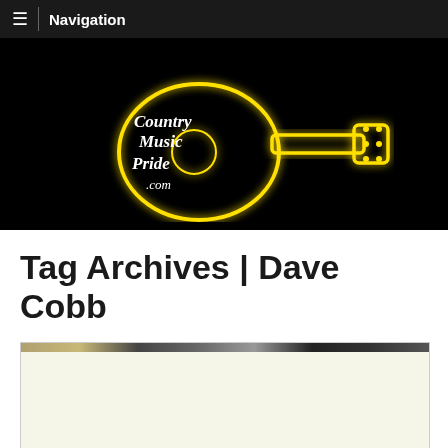≡ Navigation
[Figure (logo): Country Music Pride .com neon guitar logo on black background — yellow neon guitar outline with white script text reading 'Country Music Pride .com']
Tag Archives | Dave Cobb
[Figure (photo): Partially visible photo strip at top of a content card, showing a faint image on a cream/tan background]